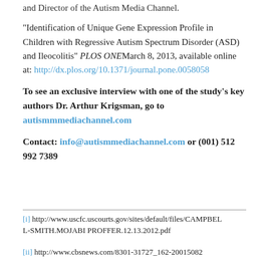and Director of the Autism Media Channel.
“Identification of Unique Gene Expression Profile in Children with Regressive Autism Spectrum Disorder (ASD) and Ileocolitis” PLOS ONE March 8, 2013, available online at: http://dx.plos.org/10.1371/journal.pone.0058058
To see an exclusive interview with one of the study’s key authors Dr. Arthur Krigsman, go to autismmmediachannel.com
Contact: info@autismmediachannel.com or (001) 512 992 7389
[i] http://www.uscfc.uscourts.gov/sites/default/files/CAMPBELL-SMITH.MOJABI PROFFER.12.13.2012.pdf
[ii] http://www.cbsnews.com/8301-31727_162-20015082...